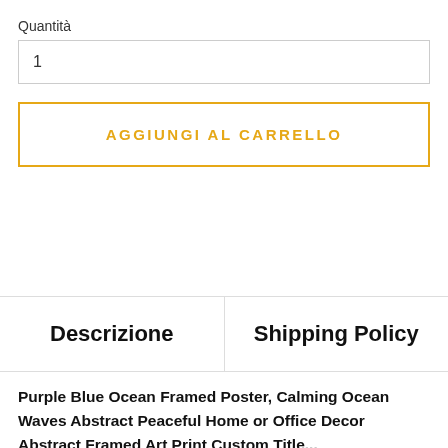Quantità
1
AGGIUNGI AL CARRELLO
Descrizione
Shipping Policy
Purple Blue Ocean Framed Poster, Calming Ocean Waves Abstract Peaceful Home or Office Decor Abstract Framed Art Print Custom Title...